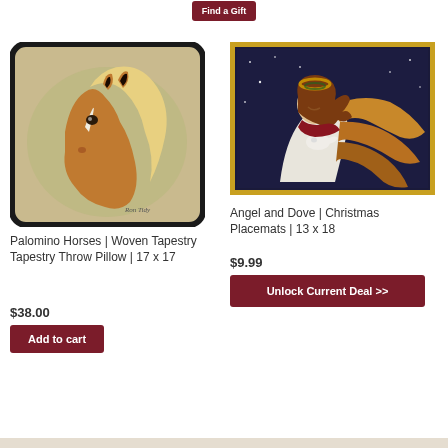[Figure (other): Dark red 'Find a Gift' button at top center, partially cropped]
[Figure (photo): Palomino horse head portrait woven tapestry throw pillow with black border, beige/tan background, horse facing left]
Palomino Horses | Woven Tapestry Tapestry Throw Pillow | 17 x 17
$38.00
Add to cart
[Figure (photo): Angel holding a white dove Christmas placemat with gold decorative border, dark blue background with stars, angel in red dress with brown wings]
Angel and Dove | Christmas Placemats | 13 x 18
$9.99
Unlock Current Deal >>